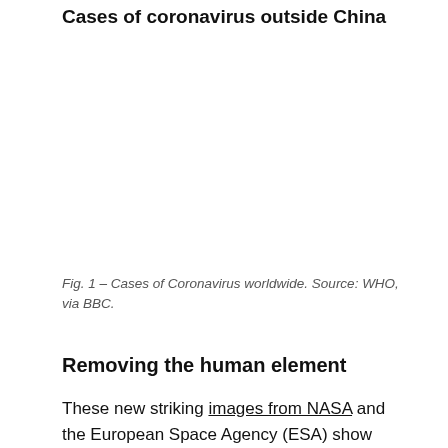Cases of coronavirus outside China
[Figure (other): Chart showing cases of coronavirus outside China — image content cropped/not visible in this page view]
Fig. 1 – Cases of Coronavirus worldwide. Source: WHO, via BBC.
Removing the human element
These new striking images from NASA and the European Space Agency (ESA) show significant decreases in